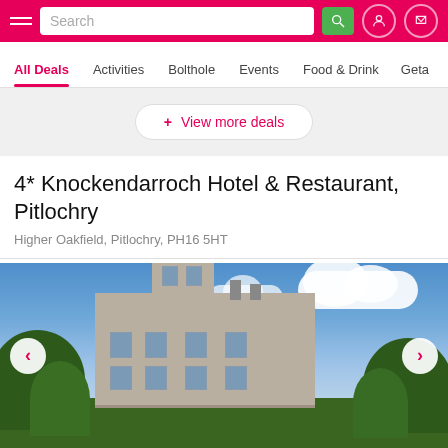Search
All Deals  Activities  Bolthole  Events  Food & Drink  Geta...
+ View more deals
4* Knockendarroch Hotel & Restaurant, Pitlochry
Higher Oakfield, Pitlochry, PH16 5HT
[Figure (photo): Exterior photo of Knockendarroch Hotel, a stone Victorian building with a pointed tower, set against a blue sky with white clouds, surrounded by trees and greenery.]